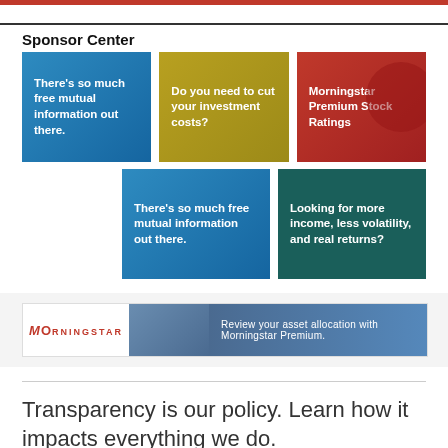Sponsor Center
[Figure (infographic): Blue gradient ad box: There's so much free mutual information out there.]
[Figure (infographic): Gold ad box: Do you need to cut your investment costs?]
[Figure (infographic): Red ad box: Morningstar Premium Stock Ratings]
[Figure (infographic): Blue gradient ad box: There's so much free mutual information out there.]
[Figure (infographic): Teal ad box: Looking for more income, less volatility, and real returns?]
[Figure (infographic): Morningstar banner ad: Review your asset allocation with Morningstar Premium.]
Transparency is our policy. Learn how it impacts everything we do.